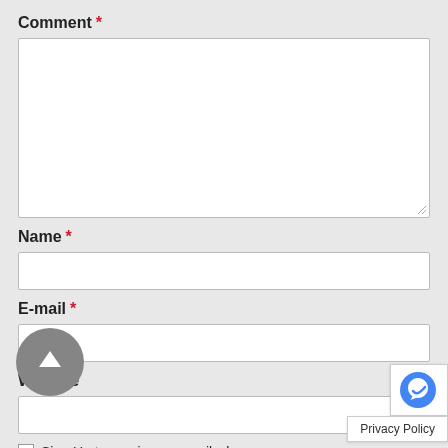Comment *
[Figure (screenshot): Empty textarea input field for comment]
Name *
[Figure (screenshot): Single-line text input field for name]
E-mail *
[Figure (screenshot): Single-line text input field for e-mail]
Website
[Figure (screenshot): Single-line text input field for website (partially visible)]
[Figure (other): Back to top circular button with upward arrow]
[Figure (other): reCAPTCHA badge logo]
Sign Up to receive an email when we pos
Privacy Policy